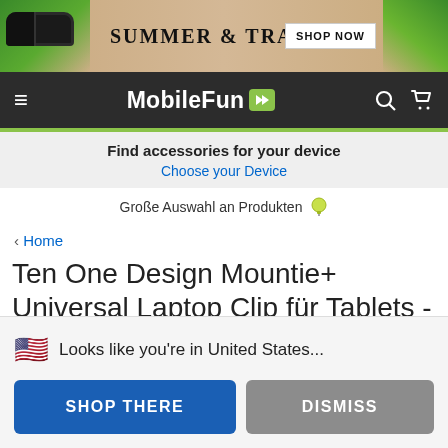[Figure (screenshot): Summer & Travel banner advertisement with tropical leaves and sunglasses, with a SHOP NOW button]
MobileFun
Find accessories for your device
Choose your Device
Große Auswahl an Produkten
< Home
Ten One Design Mountie+ Universal Laptop Clip für Tablets - Grau
🇺🇸 Looks like you're in United States...
SHOP THERE
DISMISS